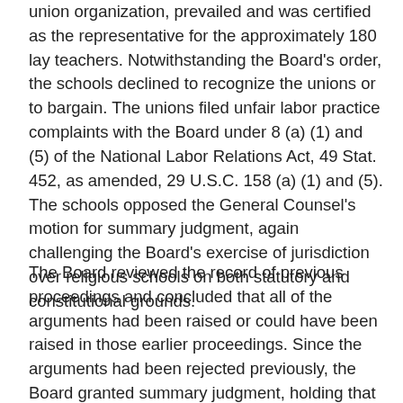union organization, prevailed and was certified as the representative for the approximately 180 lay teachers. Notwithstanding the Board's order, the schools declined to recognize the unions or to bargain. The unions filed unfair labor practice complaints with the Board under 8 (a) (1) and (5) of the National Labor Relations Act, 49 Stat. 452, as amended, 29 U.S.C. 158 (a) (1) and (5). The schools opposed the General Counsel's motion for summary judgment, again challenging the Board's exercise of jurisdiction over religious schools on both statutory and constitutional grounds.
The Board reviewed the record of previous proceedings and concluded that all of the arguments had been raised or could have been raised in those earlier proceedings. Since the arguments had been rejected previously, the Board granted summary judgment, holding that it had properly exercised its statutory discretion in asserting jurisdiction over these schools. 7 The Board concluded that the schools had